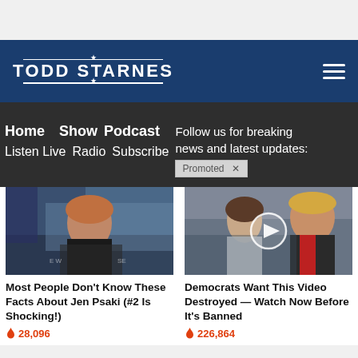TODD STARNES
Home   Show Podcast   Follow us for breaking news and latest updates:
Listen Live   Radio   Subscribe   Promoted X
[Figure (photo): Photo of Jen Psaki at a podium with American flag and White House background]
Most People Don't Know These Facts About Jen Psaki (#2 Is Shocking!)
🔥 28,096
[Figure (photo): Photo of Melania Trump and Donald Trump with a video play button overlay]
Democrats Want This Video Destroyed — Watch Now Before It's Banned
🔥 226,864